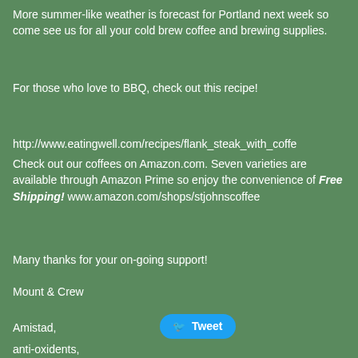More summer-like weather is forecast for Portland next week so come see us for all your cold brew coffee and brewing supplies.
For those who love to BBQ, check out this recipe!
http://www.eatingwell.com/recipes/flank_steak_with_coffe
Check out our coffees on Amazon.com. Seven varieties are available through Amazon Prime so enjoy the convenience of Free Shipping! www.amazon.com/shops/stjohnscoffee
Many thanks for your on-going support!
Mount & Crew
Amistad,
Tweet
anti-oxidents,